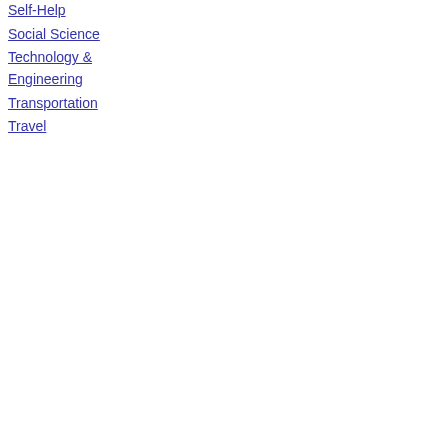Self-Help
Social Science
Technology & Engineering
Transportation
Travel
jurisdiction of the United States, whose fathers at the time of their birth were citizens of the United States (act of February 10, 1855); -also, all...
Full view - About this book
[Figure (photo): Book cover for Papers Relating to the Foreign Relations of the United States]
Papers Relating to the Foreign Relations of the United States
United States. Department of State - 1889 - 1164 pages
..."all children born or lien-after born out of the